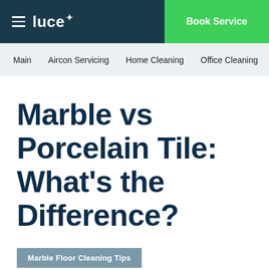luce — Book Service
Main   Aircon Servicing   Home Cleaning   Office Cleaning
Marble vs Porcelain Tile: What's the Difference?
Marble Floor Cleaning Tips